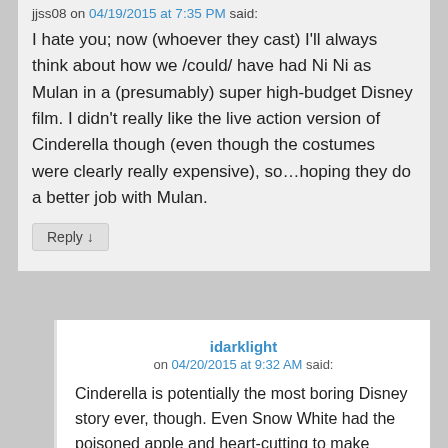jjss08 on 04/19/2015 at 7:35 PM said:
I hate you; now (whoever they cast) I'll always think about how we /could/ have had Ni Ni as Mulan in a (presumably) super high-budget Disney film. I didn't really like the live action version of Cinderella though (even though the costumes were clearly really expensive), so…hoping they do a better job with Mulan.
Reply ↓
idarklight on 04/20/2015 at 9:32 AM said:
Cinderella is potentially the most boring Disney story ever, though. Even Snow White had the poisoned apple and heart-cutting to make things exciting. I imagine Beauty and the Beast and Mulan to be a lot more fun.